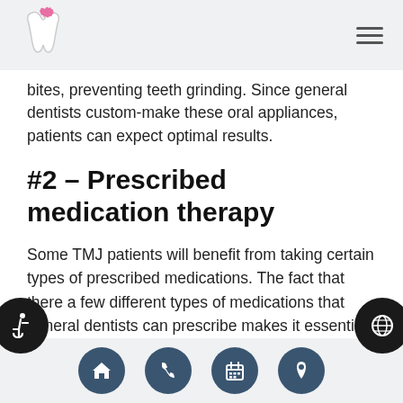Dental clinic logo and navigation
bites, preventing teeth grinding. Since general dentists custom-make these oral appliances, patients can expect optimal results.
#2 – Prescribed medication therapy
Some TMJ patients will benefit from taking certain types of prescribed medications. The fact that there a few different types of medications that general dentists can prescribe makes it essential for dentists to understand the exact condition of a patient's case of TMJ. Examples of prescribed medications include high dose anti-inflammatories, muscle relaxers for those who
Navigation icons: home, phone, calendar, location